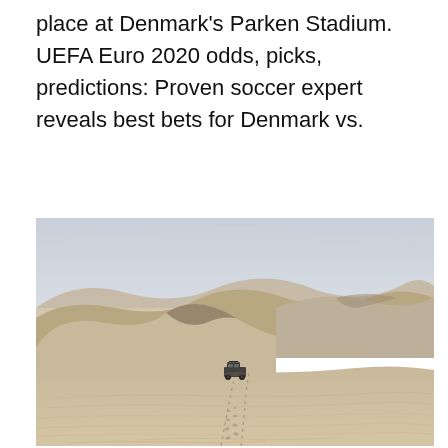place at Denmark's Parken Stadium. UEFA Euro 2020 odds, picks, predictions: Proven soccer expert reveals best bets for Denmark vs.
[Figure (photo): Aerial photograph of a 4x4 vehicle driving through vast sandy desert dunes with footprints/tracks visible in the sand. Overcast sky in the background.]